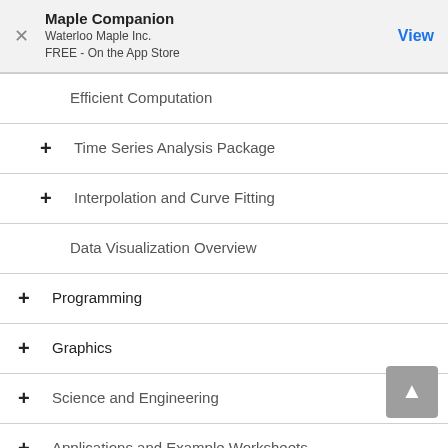Maple Companion
Waterloo Maple Inc.
FREE - On the App Store
Efficient Computation
+ Time Series Analysis Package
+ Interpolation and Curve Fitting
Data Visualization Overview
+ Programming
+ Graphics
+ Science and Engineering
+ Applications and Example Worksheets
+ Math Apps